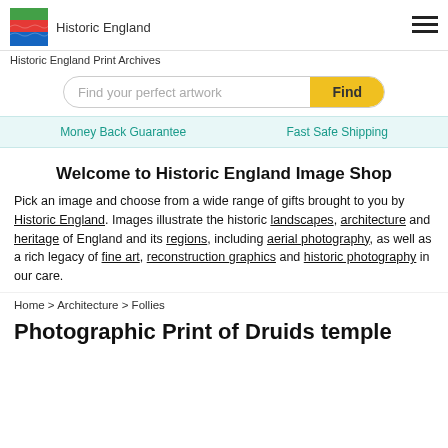Historic England
Historic England Print Archives
Find your perfect artwork | Find
Money Back Guarantee | Fast Safe Shipping
Welcome to Historic England Image Shop
Pick an image and choose from a wide range of gifts brought to you by Historic England. Images illustrate the historic landscapes, architecture and heritage of England and its regions, including aerial photography, as well as a rich legacy of fine art, reconstruction graphics and historic photography in our care.
Home > Architecture > Follies
Photographic Print of Druids temple